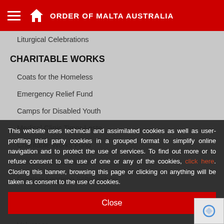ORDER OF MALTA AUSTRALIA
Liturgical Celebrations
CHARITABLE WORKS
Coats for the Homeless
Emergency Relief Fund
Camps for Disabled Youth
Medical Clinic Timor-Leste
Charitable Works Fund
Community Care Vans
Creative Learning Scholarships
I WANT TO HELP
Donate In Memoriam
Volunteer
This website uses technical and assimilated cookies as well as user-profiling third party cookies in a grouped format to simplify online navigation and to protect the use of services. To find out more or to refuse consent to the use of one or any of the cookies, click here. Closing this banner, browsing this page or clicking on anything will be taken as consent to the use of cookies.
Close